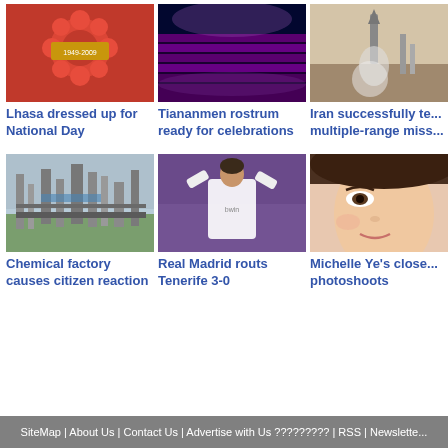[Figure (photo): Red floral decoration with Chinese text and dates 1949-2009 for National Day]
Lhasa dressed up for National Day
[Figure (photo): Tiananmen rostrum with purple/pink lighting at night, stadium seating visible]
Tiananmen rostrum ready for celebrations
[Figure (photo): Rocket or missile launch with smoke trail against desert/sky background]
Iran successfully te... multiple-range miss...
[Figure (photo): Industrial chemical factory with tall towers/structures against sky]
Chemical factory causes citizen reaction
[Figure (photo): Soccer player in white Real Madrid jersey with arms raised celebrating]
Real Madrid routs Tenerife 3-0
[Figure (photo): Close-up portrait of Asian woman Michelle Ye]
Michelle Ye's close... photoshoots
SiteMap | About Us | Contact Us | Advertise with Us ????????? | RSS | Newslette...